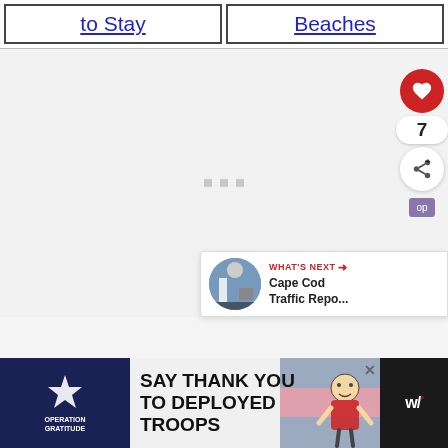to Stay
Beaches
[Figure (screenshot): Loading placeholder area with three small grey squares/dots in the center of a light grey rectangle]
[Figure (infographic): Floating social sidebar with red heart button showing 7 likes and a share button]
[Figure (infographic): What's Next panel showing Cape Cod Traffic Repo... with thumbnail image]
[Figure (infographic): Advertisement banner: Operation Gratitude - SAY THANK YOU TO DEPLOYED TROOPS with cartoon character and weather widget]